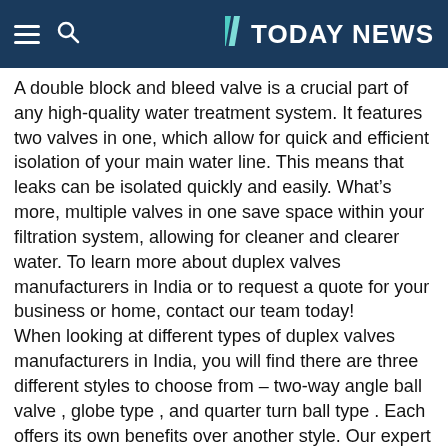TODAY NEWS
A double block and bleed valve is a crucial part of any high-quality water treatment system. It features two valves in one, which allow for quick and efficient isolation of your main water line. This means that leaks can be isolated quickly and easily. What's more, multiple valves in one save space within your filtration system, allowing for cleaner and clearer water. To learn more about duplex valves manufacturers in India or to request a quote for your business or home, contact our team today!
When looking at different types of duplex valves manufacturers in India, you will find there are three different styles to choose from – two-way angle ball valve , globe type , and quarter turn ball type . Each offers its own benefits over another style. Our expert design engineers will be able to advise you on which is